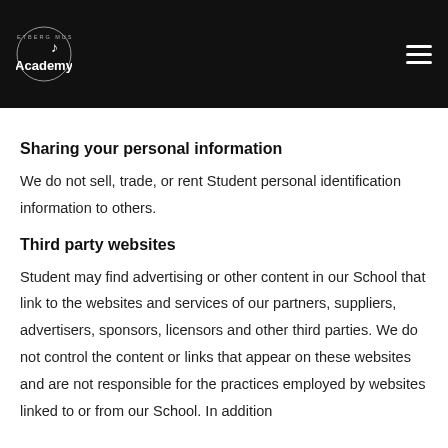Voetberg Music Academy — [header with navigation]
Sharing your personal information
We do not sell, trade, or rent Student personal identification information to others.
Third party websites
Student may find advertising or other content in our School that link to the websites and services of our partners, suppliers, advertisers, sponsors, licensors and other third parties. We do not control the content or links that appear on these websites and are not responsible for the practices employed by websites linked to or from our School. In addition